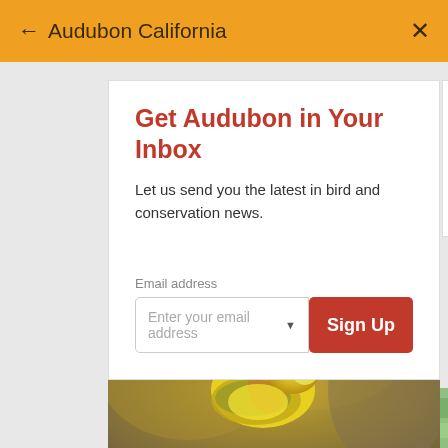← Audubon California   ✕
Get Audubon in Your Inbox
Let us send you the latest in bird and conservation news.
Email address
Enter your email address
Sign Up
[Figure (photo): Close-up photo of a yellow bird (warbler) perched on a branch, looking upward, with orange and olive plumage details]
[Figure (photo): Partial view of another photo showing green/outdoor scene on the right side]